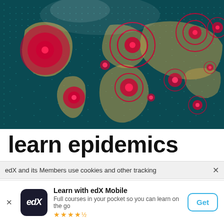[Figure (illustration): Digital world map with red epidemic outbreak circles/markers on a dark teal background with glowing grid dots, showing epidemic spread visualization]
learn epidemics
edX and its Members use cookies and other tracking
[Figure (logo): edX logo — white text on dark navy rounded square]
Learn with edX Mobile
Full courses in your pocket so you can learn on the go
★★★★½
Get